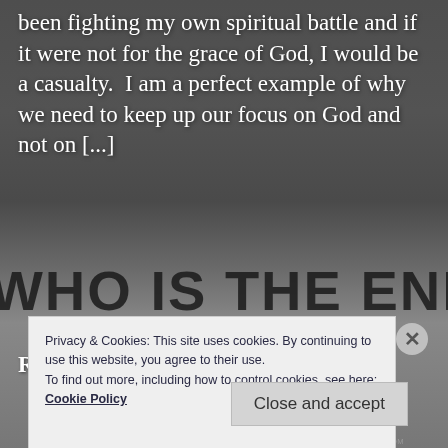[Figure (photo): Dark background photograph showing a protest sign with text 'WHO IS THE ENEMY?' partially visible, with dark/dim lighting. Lower portion shows another image related to 'Promise of Salvation' book or sign.]
been fighting my own spiritual battle and if it were not for the grace of God, I would be a casualty.  I am a perfect example of why we need to keep up our focus on God and not on [...]
Read More
Privacy & Cookies: This site uses cookies. By continuing to use this website, you agree to their use.
To find out more, including how to control cookies, see here: Cookie Policy
Close and accept